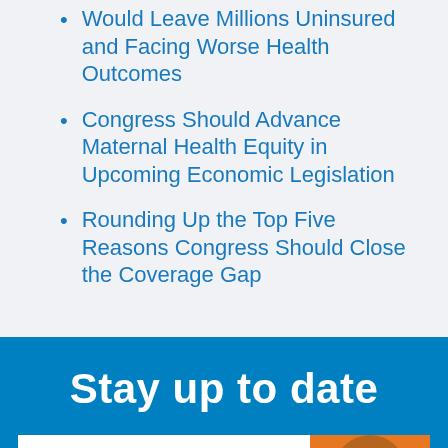Would Leave Millions Uninsured and Facing Worse Health Outcomes
Congress Should Advance Maternal Health Equity in Upcoming Economic Legislation
Rounding Up the Top Five Reasons Congress Should Close the Coverage Gap
Stay up to date
Email address
SUBMIT